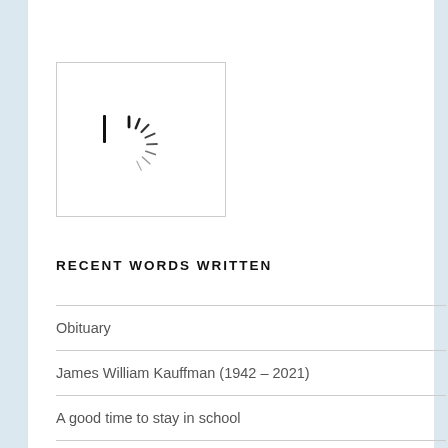[Figure (logo): Loading spinner / logo icon with radiating lines in a square box]
RECENT WORDS WRITTEN
Obituary
James William Kauffman (1942 – 2021)
A good time to stay in school
If the economy could speak